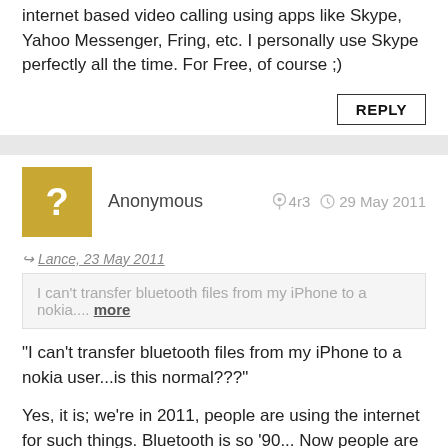internet based video calling using apps like Skype, Yahoo Messenger, Fring, etc. I personally use Skype perfectly all the time. For Free, of course ;)
REPLY
Anonymous   4r3   29 May 2011
Lance, 23 May 2011
I can't transfer bluetooth files from my iPhone to a nokia.... more
"I can't transfer bluetooth files from my iPhone to a nokia user...is this normal???"
Yes, it is; we're in 2011, people are using the internet for such things. Bluetooth is so '90... Now people are using emails, cloud services like Dropbox or AirSharing, etc.